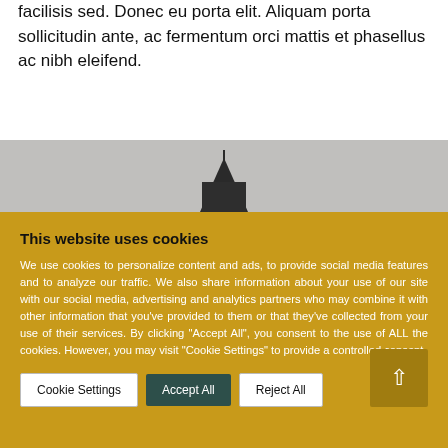facilisis sed. Donec eu porta elit. Aliquam porta sollicitudin ante, ac fermentum orci mattis et phasellus ac nibh eleifend.
[Figure (photo): Grey sky background with dark building/structure silhouette visible at center]
This website uses cookies
We use cookies to personalize content and ads, to provide social media features and to analyze our traffic. We also share information about your use of our site with our social media, advertising and analytics partners who may combine it with other information that you've provided to them or that they've collected from your use of their services. By clicking "Accept All", you consent to the use of ALL the cookies. However, you may visit "Cookie Settings" to provide a controlled consent.